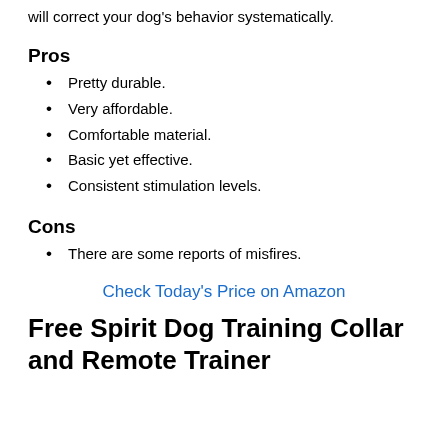will correct your dog's behavior systematically.
Pros
Pretty durable.
Very affordable.
Comfortable material.
Basic yet effective.
Consistent stimulation levels.
Cons
There are some reports of misfires.
Check Today's Price on Amazon
Free Spirit Dog Training Collar and Remote Trainer